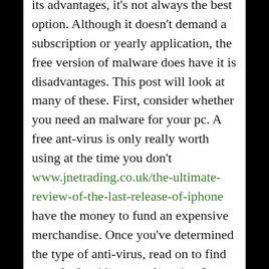its advantages, it's not always the best option. Although it doesn't demand a subscription or yearly application, the free version of malware does have it is disadvantages. This post will look at many of these. First, consider whether you need an malware for your pc. A free ant-virus is only really worth using at the time you don't www.jnetrading.co.uk/the-ultimate-review-of-the-last-release-of-iphone have the money to fund an expensive merchandise. Once you've determined the type of anti-virus, read on to find out whether it's a superb option for your needs.
Some antiviruses come with a selection of features, such as the ability to produce a rescue boot drive to ensure you can cleanup any an infection before malware viruses program contains a chance to launch. Other folks are